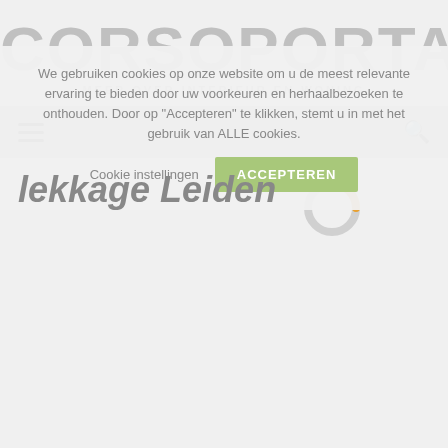CORSOPORTAL
MEER OVER INTERIEUR EN WONING
[Figure (screenshot): Navigation bar with hamburger menu icon on the left and search icon on the right, gray background]
[Figure (infographic): Loading spinner icon, circular with orange and gray arc segments]
lekkage Leiden
We gebruiken cookies op onze website om u de meest relevante ervaring te bieden door uw voorkeuren en herhaalbezoeken te onthouden. Door op "Accepteren" te klikken, stemt u in met het gebruik van ALLE cookies.
Cookie instellingen   ACCEPTEREN